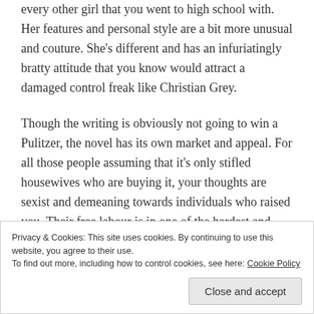every other girl that you went to high school with.  Her features and personal style are a bit more unusual and couture.  She's different and has an infuriatingly bratty attitude that you know would attract a damaged control freak like Christian Grey.
Though the writing is obviously not going to win a Pulitzer, the novel has its own market and appeal.  For all those people assuming that it's only stifled housewives who are buying it, your thoughts are sexist and demeaning towards individuals who raised you.  Their free labour is in one of the hardest and most under-
Privacy & Cookies: This site uses cookies. By continuing to use this website, you agree to their use.
To find out more, including how to control cookies, see here: Cookie Policy
Close and accept